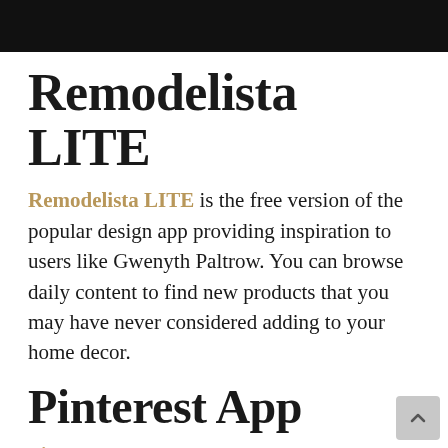Remodelista LITE
Remodelista LITE is the free version of the popular design app providing inspiration to users like Gwenyth Paltrow. You can browse daily content to find new products that you may have never considered adding to your home decor.
Pinterest App
Pinterest App lets you access your account pin inspirational ideas for easy organization. Even if you are starting from scratch, it's easy